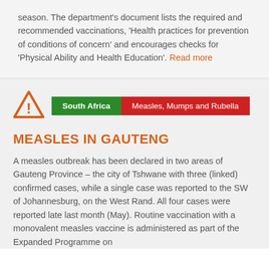season. The department's document lists the required and recommended vaccinations, 'Health practices for prevention of conditions of concern' and encourages checks for 'Physical Ability and Health Education'. Read more
South Africa | Measles, Mumps and Rubella
MEASLES IN GAUTENG
A measles outbreak has been declared in two areas of Gauteng Province – the city of Tshwane with three (linked) confirmed cases, while a single case was reported to the SW of Johannesburg, on the West Rand. All four cases were reported late last month (May). Routine vaccination with a monovalent measles vaccine is administered as part of the Expanded Programme on